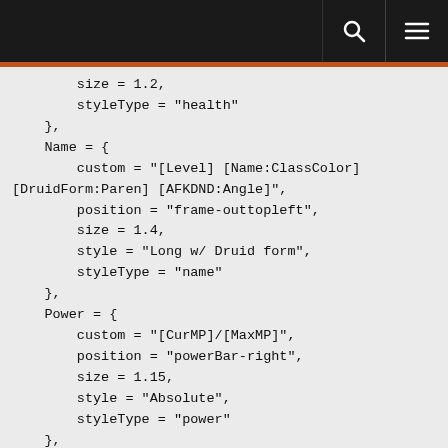size = 1.2,
    styleType = "health"
},
Name = {
    custom = "[Level] [Name:ClassColor] [DruidForm:Paren] [AFKDND:Angle]",
    position = "frame-outtopleft",
    size = 1.4,
    style = "Long w/ Druid form",
    styleType = "name"
},
Power = {
    custom = "[CurMP]/[MaxMP]",
    position = "powerBar-right",
    size = 1.15,
    style = "Absolute",
    styleType = "power"
},
Reputation = {